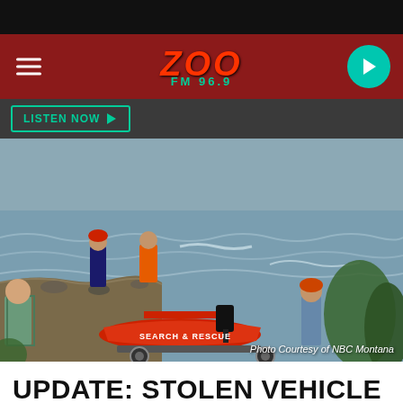ZOO FM 96.9
[Figure (photo): Search and rescue workers at a river bank with a red inflatable boat labeled 'Search & Rescue'. Workers in helmets and gear are visible on shore and in the water. Photo Courtesy of NBC Montana.]
Photo Courtesy of NBC Montana
UPDATE: STOLEN VEHICLE